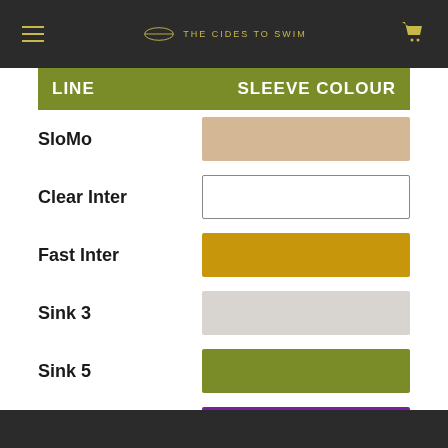THE CIDES TO SWIM — navigation header with menu and cart icons
| LINE | SLEEVE COLOUR |
| --- | --- |
| SloMo | tan/beige swatch |
| Clear Inter | white/clear swatch |
| Fast Inter | gold/dark yellow swatch |
| Sink 3 | light grey swatch |
| Sink 5 | olive green swatch |
| Sink7 | purple swatch |